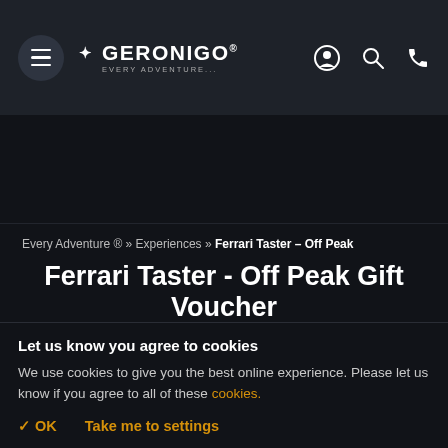[Figure (logo): Geronigo navigation bar with hamburger menu, logo reading GERONIGO EVERY ADVENTURE, and icons for user, search, and phone on dark background]
[Figure (photo): Dark hero image background area]
Every Adventure ® » Experiences » Ferrari Taster – Off Peak
Ferrari Taster - Off Peak Gift Voucher
34 Locations Nationwide
Let us know you agree to cookies
We use cookies to give you the best online experience. Please let us know if you agree to all of these cookies.
✓ OK    Take me to settings